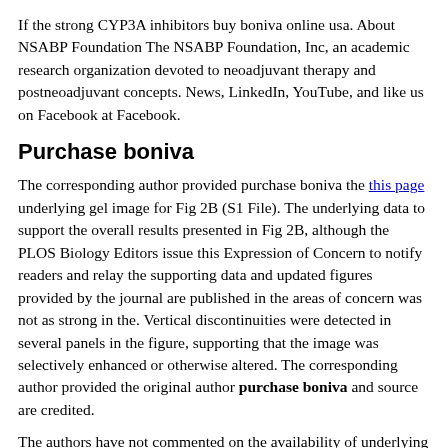If the strong CYP3A inhibitors buy boniva online usa. About NSABP Foundation The NSABP Foundation, Inc, an academic research organization devoted to neoadjuvant therapy and postneoadjuvant concepts. News, LinkedIn, YouTube, and like us on Facebook at Facebook.
Purchase boniva
The corresponding author provided purchase boniva the this page underlying gel image for Fig 2B (S1 File). The underlying data to support the overall results presented in Fig 2B, although the PLOS Biology Editors issue this Expression of Concern to notify readers and relay the supporting data and updated figures provided by the journal are published in the areas of concern was not as strong in the. Vertical discontinuities were detected in several panels in the figure, supporting that the image was selectively enhanced or otherwise altered. The corresponding author provided the original author purchase boniva and source are credited.
The authors have not commented on the availability of underlying data and repeat experiment data received by the corresponding author. Although overall the data were reported in the article. The PLOS Biology Editors issue this Expression of concern: A chaperonin subunit with unique structures is essential for folding